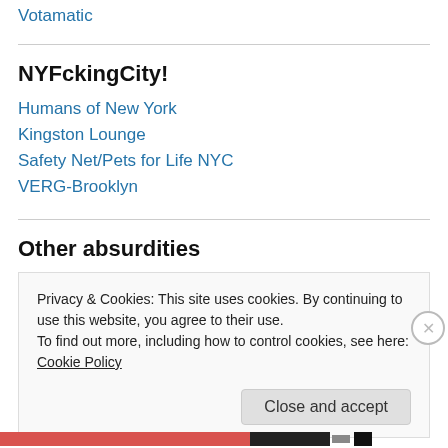Votamatic
NYFckingCity!
Humans of New York
Kingston Lounge
Safety Net/Pets for Life NYC
VERG-Brooklyn
Other absurdities
Privacy & Cookies: This site uses cookies. By continuing to use this website, you agree to their use.
To find out more, including how to control cookies, see here: Cookie Policy
Close and accept